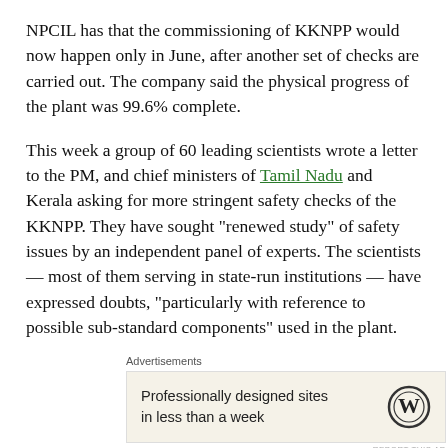NPCIL has that the commissioning of KKNPP would now happen only in June, after another set of checks are carried out. The company said the physical progress of the plant was 99.6% complete.
This week a group of 60 leading scientists wrote a letter to the PM, and chief ministers of Tamil Nadu and Kerala asking for more stringent safety checks of the KKNPP. They have sought “renewed study” of safety issues by an independent panel of experts. The scientists — most of them serving in state-run institutions — have expressed doubts, “particularly with reference to possible sub-standard components” used in the plant.
Advertisements
[Figure (other): Advertisement box with text 'Professionally designed sites in less than a week' and WordPress logo]
There are scientists who continue to insist that there are no such